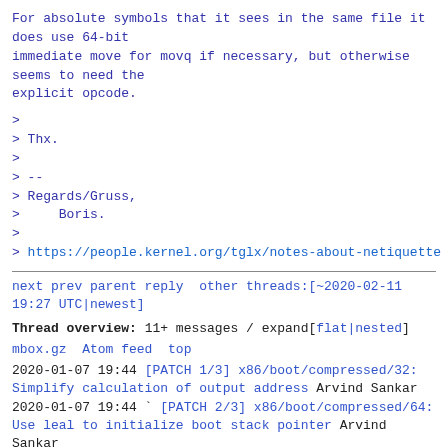For absolute symbols that it sees in the same file it does use 64-bit
immmediate move for movq if necessary, but otherwise seems to need the
explicit opcode.
>
> Thx.
>
> --
> Regards/Gruss,
>     Boris.
>
> https://people.kernel.org/tglx/notes-about-netiquette
next prev parent reply  other threads:[~2020-02-11 19:27 UTC|newest]
Thread overview: 11+ messages / expand[flat|nested]
mbox.gz  Atom feed  top
2020-01-07 19:44 [PATCH 1/3] x86/boot/compressed/32: Simplify calculation of output address Arvind Sankar
2020-01-07 19:44 ` [PATCH 2/3] x86/boot/compressed/64: Use leal to initialize boot stack pointer Arvind Sankar
2020-02-12 12:04   ` [tip: x86/boot] x86/boot/compressed/64: Use LEA " tip-bot2 for Arvind Sankar
2020-01-07 19:44 ` [PATCH 3/3] x86/boot/compressed/64: